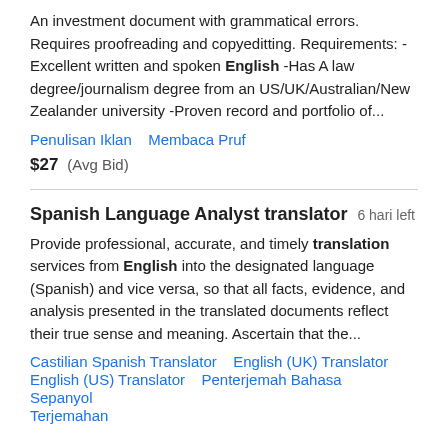An investment document with grammatical errors. Requires proofreading and copyeditting. Requirements: -Excellent written and spoken English -Has A law degree/journalism degree from an US/UK/Australian/New Zealander university -Proven record and portfolio of...
Penulisan Iklan   Membaca Pruf
$27  (Avg Bid)
Spanish Language Analyst translator   6 hari left
Provide professional, accurate, and timely translation services from English into the designated language (Spanish) and vice versa, so that all facts, evidence, and analysis presented in the translated documents reflect their true sense and meaning. Ascertain that the...
Castilian Spanish Translator   English (UK) Translator   English (US) Translator   Penterjemah Bahasa Sepanyol   Terjemahan